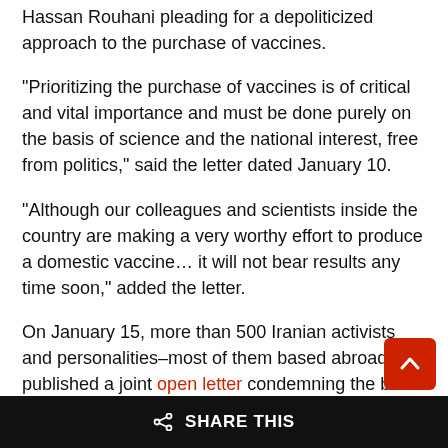Hassan Rouhani pleading for a depoliticized approach to the purchase of vaccines.
“Prioritizing the purchase of vaccines is of critical and vital importance and must be done purely on the basis of science and the national interest, free from politics,” said the letter dated January 10.
“Although our colleagues and scientists inside the country are making a very worthy effort to produce a domestic vaccine… it will not bear results any time soon,” added the letter.
On January 15, more than 500 Iranian activists and personalities–most of them based abroad–published a joint open letter condemning the ban on western vaccines as a “crime against humanity.”
“Khamenei’s ban on vaccines made in the U.S. and UK has endangered the lives of thousands of Iranians while he, his associates and senior officials of the Islamic Republic receive treatment with the most sophisticated western equipment and pharmaceuticals and fly abroad to countries such as the whenever they require further medical attention,” said th
SHARE THIS